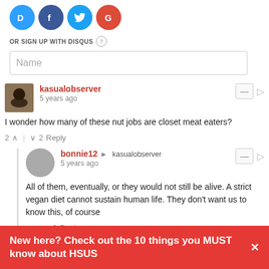[Figure (logo): Social login icons: Disqus (blue D), Facebook (blue f), Twitter (blue bird), Google (red G)]
OR SIGN UP WITH DISQUS ?
Name
kasualobserver
5 years ago
I wonder how many of these nut jobs are closet meat eaters?
2  |  2  Reply
bonnie12 → kasualobserver
5 years ago
All of them, eventually, or they would not still be alive. A strict vegan diet cannot sustain human life. They don't want us to know this, of course
|  2  Reply
New here? Check out the 10 things you MUST know about HSUS